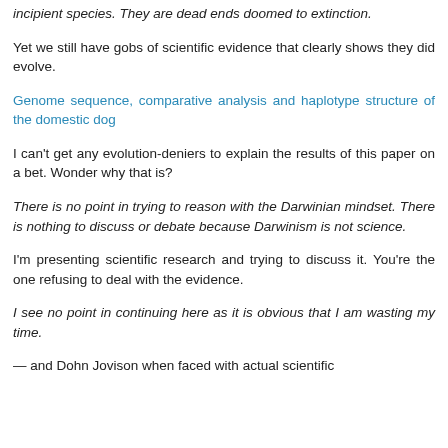incipient species. They are dead ends doomed to extinction.
Yet we still have gobs of scientific evidence that clearly shows they did evolve.
Genome sequence, comparative analysis and haplotype structure of the domestic dog
I can't get any evolution-deniers to explain the results of this paper on a bet. Wonder why that is?
There is no point in trying to reason with the Darwinian mindset. There is nothing to discuss or debate because Darwinism is not science.
I'm presenting scientific research and trying to discuss it. You're the one refusing to deal with the evidence.
I see no point in continuing here as it is obvious that I am wasting my time.
— and Dohn Jovison when faced with actual scientific